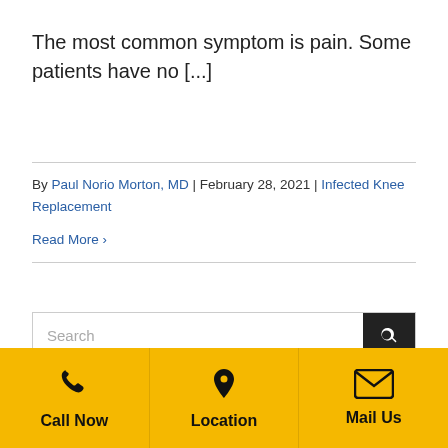The most common symptom is pain. Some patients have no [...]
By Paul Norio Morton, MD | February 28, 2021 | Infected Knee Replacement
Read More ›
Search
Call Now | Location | Mail Us